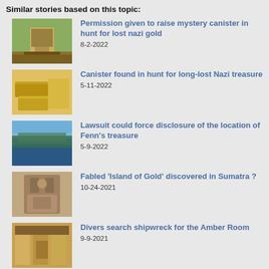Similar stories based on this topic:
Permission given to raise mystery canister in hunt for lost nazi gold
8-2-2022
Canister found in hunt for long-lost Nazi treasure
5-11-2022
Lawsuit could force disclosure of the location of Fenn's treasure
5-9-2022
Fabled 'Island of Gold' discovered in Sumatra ?
10-24-2021
Divers search shipwreck for the Amber Room
9-9-2021